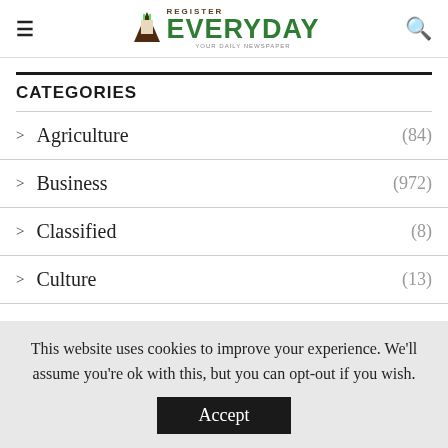EVERYDAY (website navigation header with logo, menu, and search)
CATEGORIES
> Agriculture (84)
> Business (972)
> Classified (8)
> Culture (13)
This website uses cookies to improve your experience. We'll assume you're ok with this, but you can opt-out if you wish. Accept